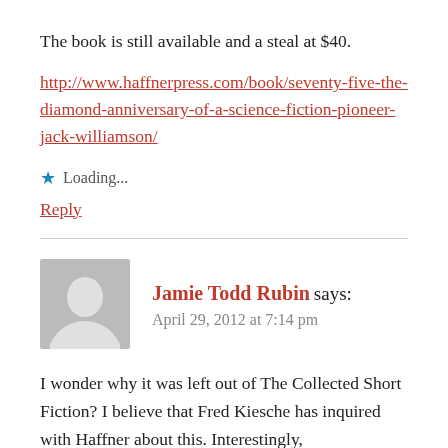The book is still available and a steal at $40.
http://www.haffnerpress.com/book/seventy-five-the-diamond-anniversary-of-a-science-fiction-pioneer-jack-williamson/
Loading...
Reply
Jamie Todd Rubin says:
April 29, 2012 at 7:14 pm
I wonder why it was left out of The Collected Short Fiction? I believe that Fred Kiesche has inquired with Haffner about this. Interestingly,